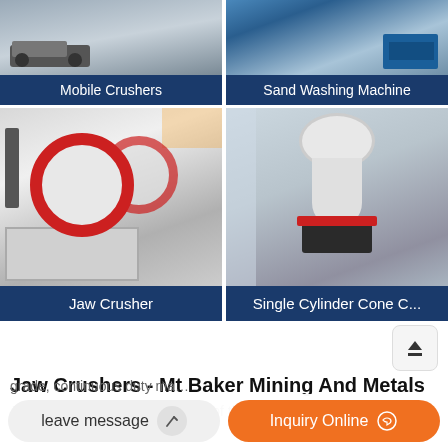[Figure (photo): Mobile Crushers product card with image of crusher machinery on truck]
Mobile Crushers
[Figure (photo): Sand Washing Machine product card with image of sand washing equipment]
Sand Washing Machine
[Figure (photo): Jaw Crusher product card with image of jaw crusher machines with red flywheels in a factory]
Jaw Crusher
[Figure (photo): Single Cylinder Cone Crusher product card with image of white cone crusher machine in factory]
Single Cylinder Cone C...
Jaw Crushers - Mt Baker Mining And Metals
Jaw crushers are the workhorse of the crushing industry
leave message
Inquiry Online
grade, continuous duty mach...